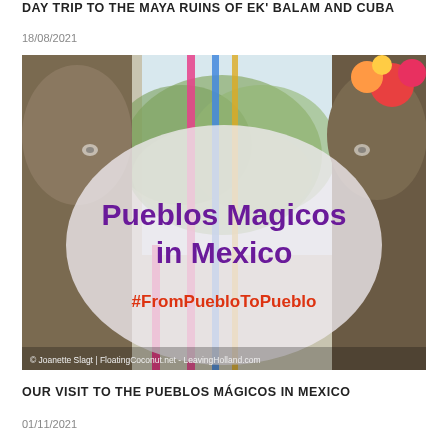DAY TRIP TO THE MAYA RUINS OF EK' BALAM AND CUBA
18/08/2021
[Figure (photo): Photo of people in traditional Mexican Pueblos Magicos festival costumes with colorful ribbons. Overlaid with a semi-transparent oval containing text 'Pueblos Magicos in Mexico' in bold purple and '#FromPuebloToPueblo' in orange-red. Watermark reads: © Joanette Slagt | FloatingCoconut.net - LeavingHolland.com]
OUR VISIT TO THE PUEBLOS MÁGICOS IN MEXICO
01/11/2021